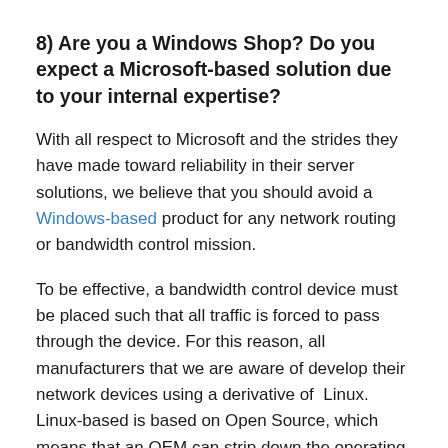8) Are you a Windows Shop?  Do you expect a Microsoft-based solution due to your internal expertise?
With all respect to Microsoft and the strides they have made toward reliability in their server solutions, we believe that you should avoid a Windows-based product for any network routing or bandwidth control mission.
To be effective, a bandwidth control device must be placed such that all traffic is forced to pass through the device. For this reason, all manufacturers that we are aware of develop their network devices using a derivative of  Linux. Linux-based is based on Open Source, which means that an OEM can strip down the operating system to its simplest components.  The simpler operating system in your network device, the less that can go wrong.